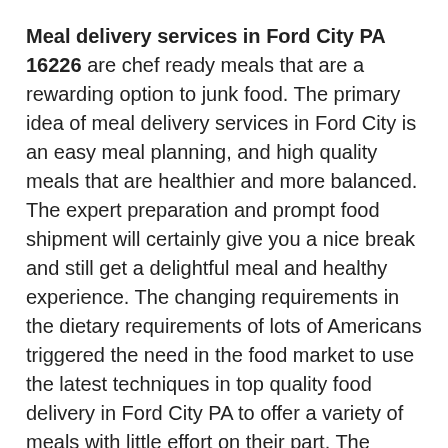Meal delivery services in Ford City PA 16226 are chef ready meals that are a rewarding option to junk food. The primary idea of meal delivery services in Ford City is an easy meal planning, and high quality meals that are healthier and more balanced. The expert preparation and prompt food shipment will certainly give you a nice break and still get a delightful meal and healthy experience. The changing requirements in the dietary requirements of lots of Americans triggered the need in the food market to use the latest techniques in top quality food delivery in Ford City PA to offer a variety of meals with little effort on their part. The increase and incidence of weight problems and diabetes is a national issue and are credited to the fast food consumption which consists of greater calories.
Healthy Home Food Delivery Ford City PA 16226